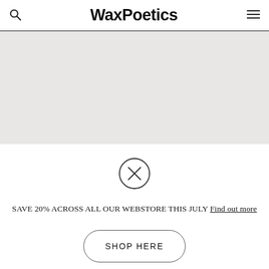WaxPoetics
[Figure (other): Gray background area representing a content/image placeholder below the navigation header]
[Figure (other): Close/X button circle icon]
SAVE 20% ACROSS ALL OUR WEBSTORE THIS JULY Find out more
SHOP HERE